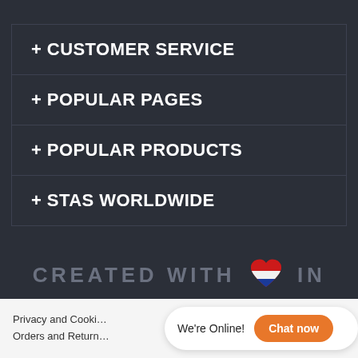+ CUSTOMER SERVICE
+ POPULAR PAGES
+ POPULAR PRODUCTS
+ STAS WORLDWIDE
CREATED WITH ♥ IN THE NETHERLANDS
Privacy and Cooki… Orders and Return…
We're Online! Chat now